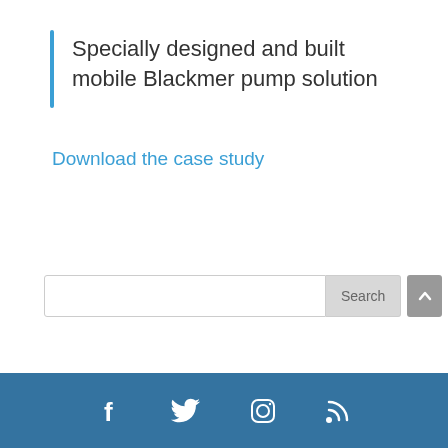Specially designed and built mobile Blackmer pump solution
Download the case study
[Figure (other): Search bar with Search button and scroll-to-top arrow button]
Social media icons: Facebook, Twitter, Instagram, RSS